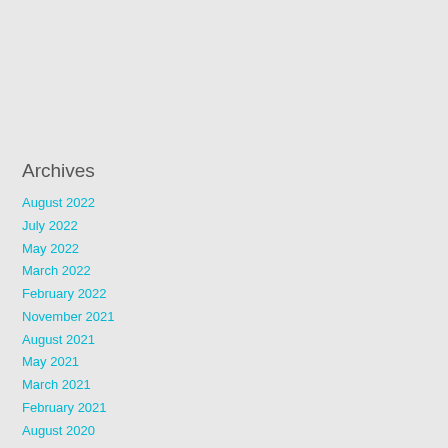Archives
August 2022
July 2022
May 2022
March 2022
February 2022
November 2021
August 2021
May 2021
March 2021
February 2021
August 2020